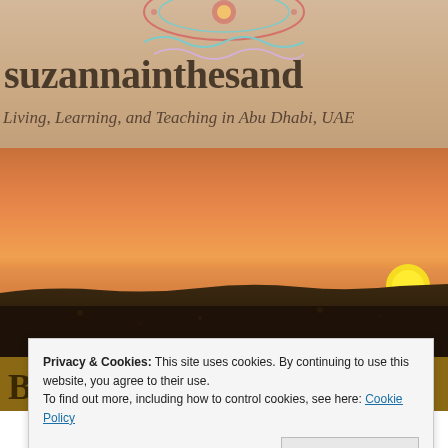suzannainthesand
Living, Learning, and Teaching in Abu Dhabi, UAE
[Figure (photo): Desert sunset photograph showing golden-orange sky with sun setting on the horizon over a dark sandy desert landscape]
Privacy & Cookies: This site uses cookies. By continuing to use this website, you agree to their use. To find out more, including how to control cookies, see here: Cookie Policy
Close and accept
26. Baby, It's Cold Inside!